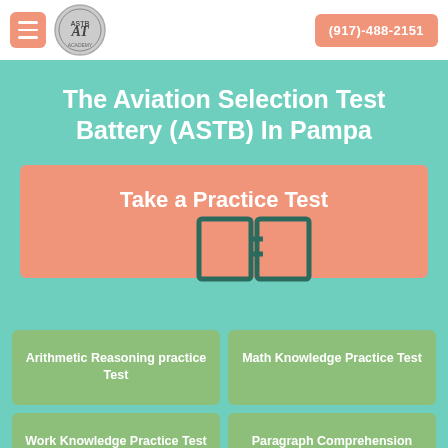(917)-488-2151
The Aviation Selection Test Battery (ASTB) In Pampa
Take a Practice Test
Arithmetic Reasoning practice Test
Math Knowledge Practice Test
Work Knowledge Practice Test
Paragraph Comprehension Practice Test